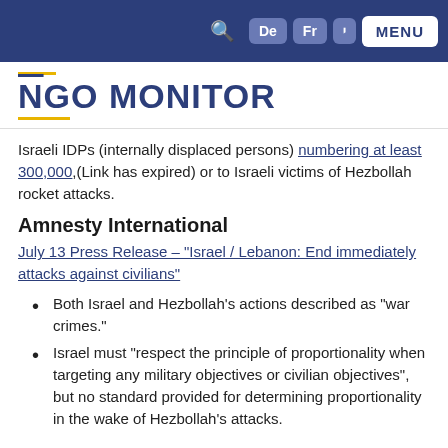NGO MONITOR [navigation bar with search, De, Fr, Hebrew, MENU buttons]
NGO MONITOR
Israeli IDPs (internally displaced persons) numbering at least 300,000,(Link has expired) or to Israeli victims of Hezbollah rocket attacks.
Amnesty International
July 13 Press Release – "Israel / Lebanon: End immediately attacks against civilians"
Both Israel and Hezbollah's actions described as "war crimes."
Israel must "respect the principle of proportionality when targeting any military objectives or civilian objectives", but no standard provided for determining proportionality in the wake of Hezbollah's attacks.